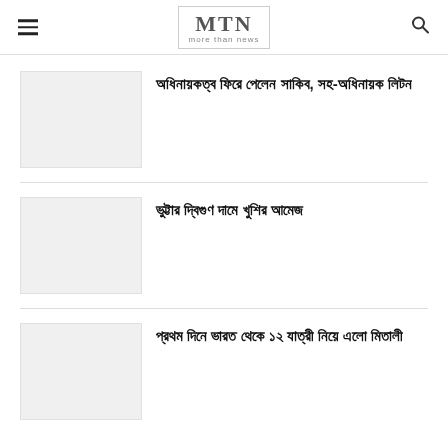MTN – more than news
অধিনায়কত্ব ফিরে পেলেন সাকিব, সহ-অধিনায়ক লিটন
ভুট্টার দ্বিগুণ দামে খুশির আমেজ
প্রথম দিনে ভারত থেকে ১২ যাত্রী নিয়ে এলো মিতালী